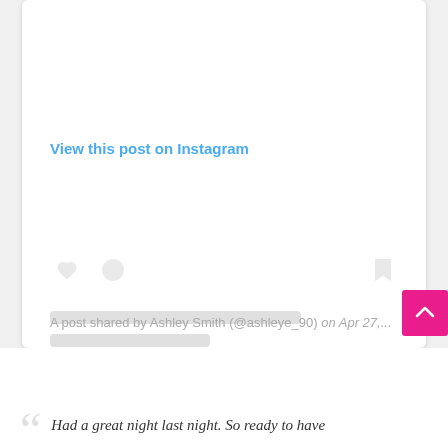[Figure (screenshot): Instagram embedded post card showing 'View this post on Instagram' link in blue, with placeholder loading icons (heart, comment bubble, bookmark) and skeleton loading bars, on a white rounded card background]
A post shared by Ashley Smith (@ashleye_90) on Apr 27,...
Had a great night last night. So ready to have